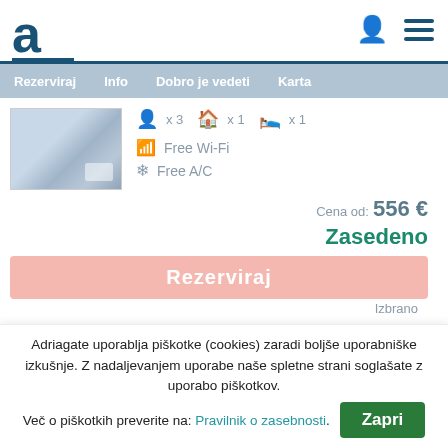a [logo]
Rezerviraj  Info  Dobro je vedeti  Karta
[Figure (photo): Thumbnail photo of a property/accommodation exterior]
x 3  x 1  x 1
Free Wi-Fi
Free A/C
Cena od: 556 €
Zasedeno
Rezerviraj
Izbrano
Gost:
Adriagate uporablja piškotke (cookies) zaradi boljše uporabniške izkušnje. Z nadaljevanjem uporabe naše spletne strani soglašate z uporabo piškotkov.
Več o piškotkih preverite na: Pravilnik o zasebnosti.
Zapri